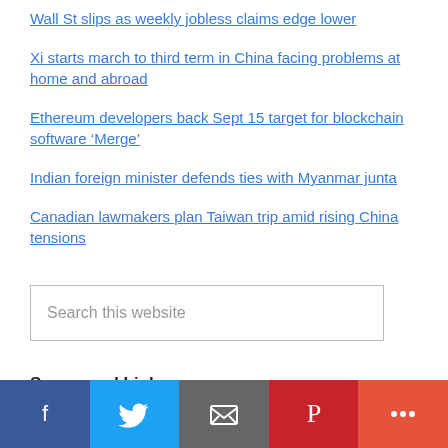Wall St slips as weekly jobless claims edge lower
Xi starts march to third term in China facing problems at home and abroad
Ethereum developers back Sept 15 target for blockchain software ‘Merge’
Indian foreign minister defends ties with Myanmar junta
Canadian lawmakers plan Taiwan trip amid rising China tensions
Search this website
Sponsored Links
[Figure (infographic): Social sharing bar with Facebook, Twitter, Email, Pinterest, and More buttons]